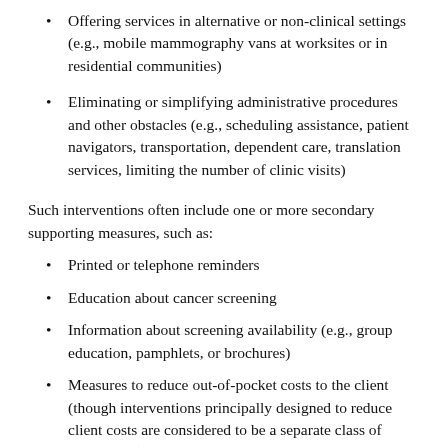Offering services in alternative or non-clinical settings (e.g., mobile mammography vans at worksites or in residential communities)
Eliminating or simplifying administrative procedures and other obstacles (e.g., scheduling assistance, patient navigators, transportation, dependent care, translation services, limiting the number of clinic visits)
Such interventions often include one or more secondary supporting measures, such as:
Printed or telephone reminders
Education about cancer screening
Information about screening availability (e.g., group education, pamphlets, or brochures)
Measures to reduce out-of-pocket costs to the client (though interventions principally designed to reduce client costs are considered to be a separate class of approaches)